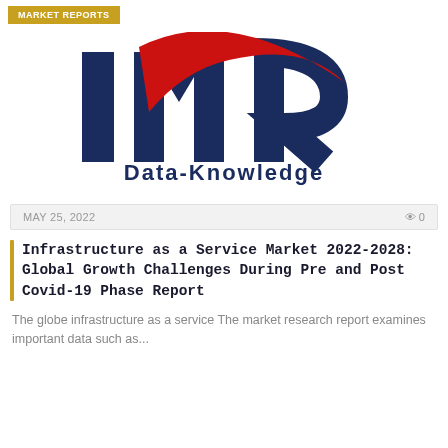MARKET REPORTS
[Figure (logo): IMR Data-Knowledge logo with dark navy bold letters I, M, R and a red swoosh arc over the M, with 'Data-Knowledge' text below in dark navy]
MAY 25, 2022   0
Infrastructure as a Service Market 2022-2028: Global Growth Challenges During Pre and Post Covid-19 Phase Report
The globe infrastructure as a service The market research report examines important data such as...